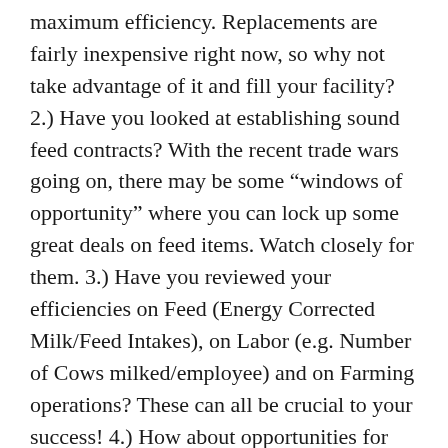maximum efficiency. Replacements are fairly inexpensive right now, so why not take advantage of it and fill your facility? 2.) Have you looked at establishing sound feed contracts? With the recent trade wars going on, there may be some “windows of opportunity” where you can lock up some great deals on feed items. Watch closely for them. 3.) Have you reviewed your efficiencies on Feed (Energy Corrected Milk/Feed Intakes), on Labor (e.g. Number of Cows milked/employee) and on Farming operations? These can all be crucial to your success! 4.) How about opportunities for Automation in your operation? Can you use various Robotics to push up feed more regularly, which can boost Feed Efficiency? How about for feeding calves? What about in the